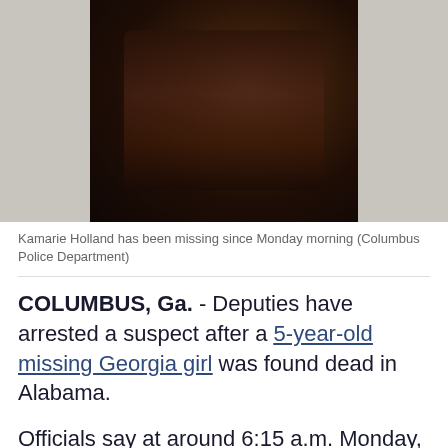[Figure (photo): Partial photo of Kamarie Holland, showing a child in a floral outfit, cropped at top. Background is light taupe on sides with dark center photo panel.]
Kamarie Holland has been missing since Monday morning (Columbus Police Department)
COLUMBUS, Ga. - Deputies have arrested a suspect after a 5-year-old missing Georgia girl was found dead in Alabama.
Officials say at around 6:15 a.m. Monday, 5-year-old Kamarie Holland was reported missing by her mother. The Columbus, Georgia woman said she woke up at her home on the 1600 block of Bowman Street and found her daughter gone.
2 GEORGIA COUSINS KILLED IN SEPARATE